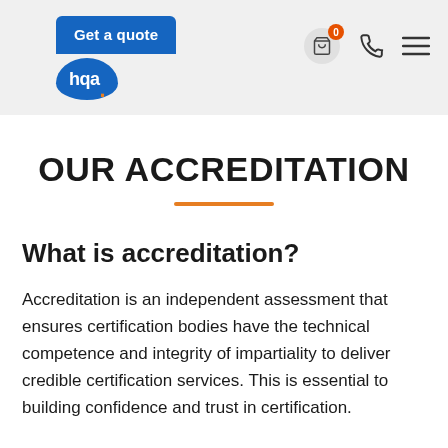Get a quote
OUR ACCREDITATION
What is accreditation?
Accreditation is an independent assessment that ensures certification bodies have the technical competence and integrity of impartiality to deliver credible certification services. This is essential to building confidence and trust in certification.